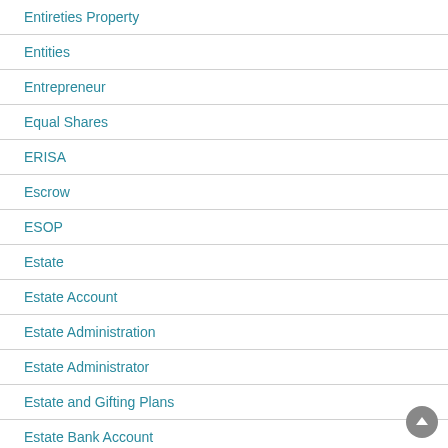Entireties Property
Entities
Entrepreneur
Equal Shares
ERISA
Escrow
ESOP
Estate
Estate Account
Estate Administration
Estate Administrator
Estate and Gifting Plans
Estate Bank Account